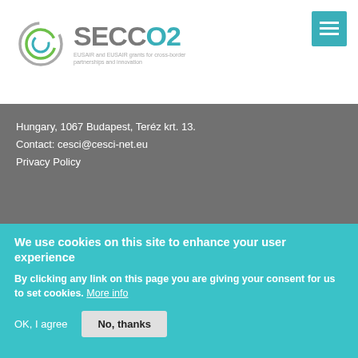[Figure (logo): SECCO2 logo with circular arrow icon and tagline 'EUSAIR and EUSAIR grants for cross-border partnerships and innovation']
Hungary, 1067 Budapest, Teréz krt. 13.
Contact: cesci@cesci-net.eu
Privacy Policy
[Figure (logo): EU Strategy for the Adriatic and Ionian Region EUSAIR logo with colored arrows and EU stars]
We use cookies on this site to enhance your user experience
By clicking any link on this page you are giving your consent for us to set cookies. More info
OK, I agree
No, thanks